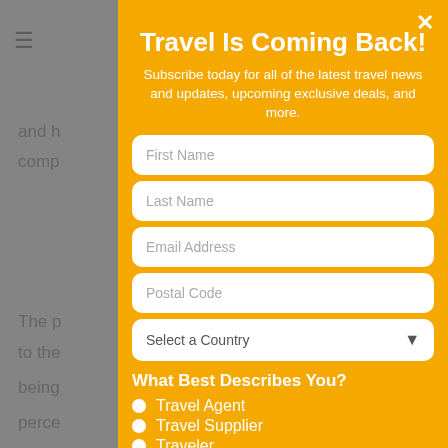[Figure (screenshot): Background page content partially visible behind modal overlay showing gray page with partial text fragments]
Travel Is Coming Back!
Subscribe today for all of the latest travel news and updates, upcoming exclusive deals, and more.
First Name
Last Name
Email Address
Postal Code
Select a Country
What Best Describes You?
Travel Agent
Travel Supplier
Traveler